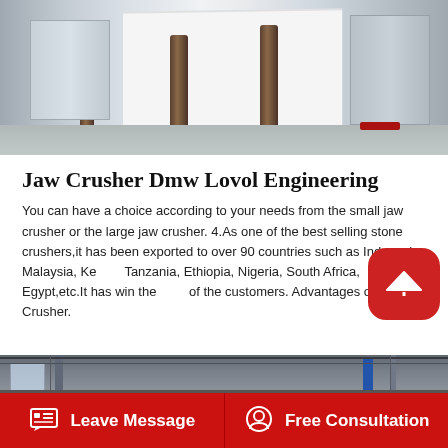[Figure (photo): Top-down/side view of jaw crusher machinery in a factory, showing white metal panels, vertical poles, and red accents on concrete floor]
Jaw Crusher Dmw Lovol Engineering
You can have a choice according to your needs from the small jaw crusher or the large jaw crusher. 4.As one of the best selling stone crushers,it has been exported to over 90 countries such as Indonesia, Malaysia, Kenya, Tanzania, Ethiopia, Nigeria, South Africa, Egypt,etc.It has win the trust of the customers. Advantages of Jaw Crusher.
[Figure (photo): Interior of industrial factory/warehouse showing large orange/red flywheels on jaw crusher equipment, metal structural columns, blue banner, and window light]
Leave Message
Free Consultation